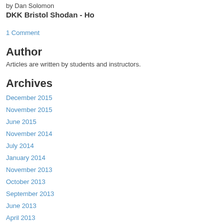by Dan Solomon
DKK Bristol Shodan - Ho
1 Comment
Author
Articles are written by students and instructors.
Archives
December 2015
November 2015
June 2015
November 2014
July 2014
January 2014
November 2013
October 2013
September 2013
June 2013
April 2013